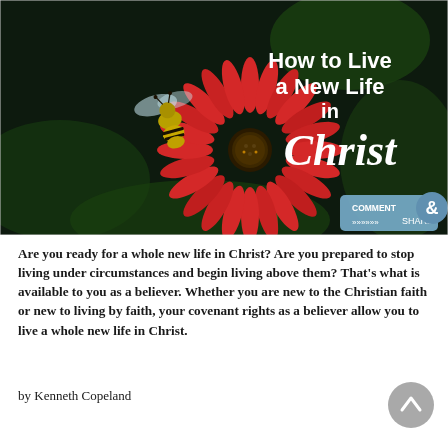[Figure (illustration): Dark background photo of a honey bee on a red gerbera daisy flower. White text overlay reads 'How to Live a New Life in Christ' in bold/script typography. Bottom right corner has a 'COMMENT & SHARE' button badge.]
Are you ready for a whole new life in Christ? Are you prepared to stop living under circumstances and begin living above them? That's what is available to you as a believer. Whether you are new to the Christian faith or new to living by faith, your covenant rights as a believer allow you to live a whole new life in Christ.
by Kenneth Copeland